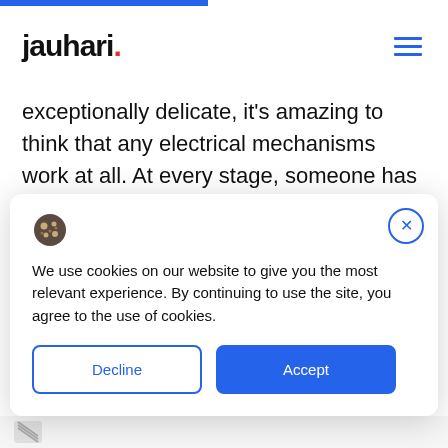jauhari.
exceptionally delicate, it's amazing to think that any electrical mechanisms work at all. At every stage, someone has had to consider and invent the parts, refining them so that combined, all the parts do as they were
We use cookies on our website to give you the most relevant experience. By continuing to use the site, you agree to the use of cookies.
Decline
Accept